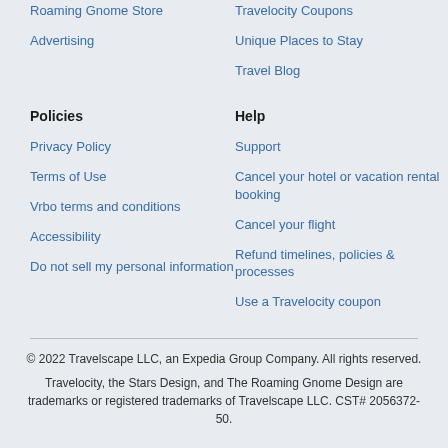Roaming Gnome Store
Advertising
Travelocity Coupons
Unique Places to Stay
Travel Blog
Policies
Help
Privacy Policy
Support
Terms of Use
Cancel your hotel or vacation rental booking
Vrbo terms and conditions
Cancel your flight
Accessibility
Refund timelines, policies & processes
Do not sell my personal information
Use a Travelocity coupon
© 2022 Travelscape LLC, an Expedia Group Company. All rights reserved. Travelocity, the Stars Design, and The Roaming Gnome Design are trademarks or registered trademarks of Travelscape LLC. CST# 2056372-50.